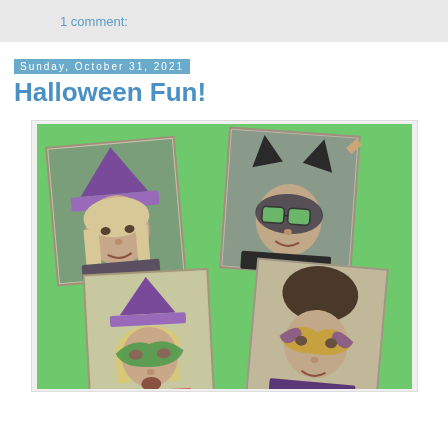1 comment:
Sunday, October 31, 2021
Halloween Fun!
[Figure (illustration): Four painted portrait cards arranged on a green background, showing Halloween costumes: top-left a witch with purple hat, top-right a figure with black cat/devil ears and green glasses, bottom-left a child with green masquerade mask and purple hat, bottom-right a person with gold and purple masquerade mask.]